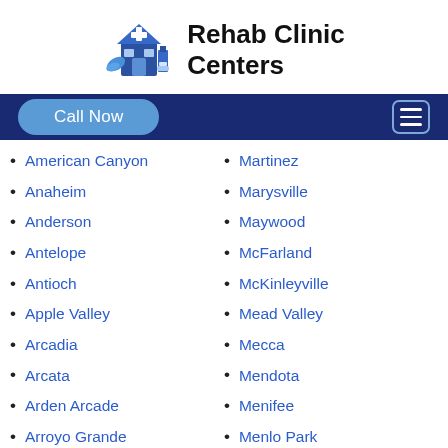[Figure (logo): Rehab Clinic Centers logo with blue medical building and leaves illustration]
Rehab Clinic Centers
Call Now | hamburger menu navigation bar
American Canyon
Anaheim
Anderson
Antelope
Antioch
Apple Valley
Arcadia
Arcata
Arden Arcade
Arroyo Grande
Martinez
Marysville
Maywood
McFarland
McKinleyville
Mead Valley
Mecca
Mendota
Menifee
Menlo Park